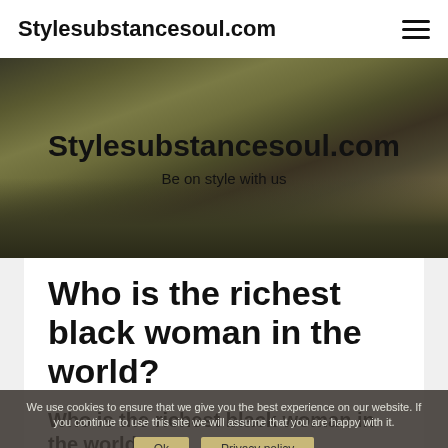Stylesubstancesoul.com
[Figure (photo): Mountain landscape hero banner with rocky terrain and dramatic lighting, overlaid with site title and tagline]
Stylesubstancesoul.com
Be on style with us
Who is the richest black woman in the world?
We use cookies to ensure that we give you the best experience on our website. If you continue to use this site we will assume that you are happy with it.
Who is the richest black woman in the world?